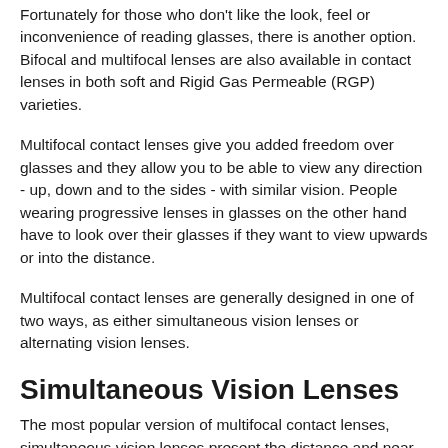Fortunately for those who don't like the look, feel or inconvenience of reading glasses, there is another option. Bifocal and multifocal lenses are also available in contact lenses in both soft and Rigid Gas Permeable (RGP) varieties.
Multifocal contact lenses give you added freedom over glasses and they allow you to be able to view any direction - up, down and to the sides - with similar vision. People wearing progressive lenses in glasses on the other hand have to look over their glasses if they want to view upwards or into the distance.
Multifocal contact lenses are generally designed in one of two ways, as either simultaneous vision lenses or alternating vision lenses.
Simultaneous Vision Lenses
The most popular version of multifocal contact lenses, simultaneous vision lenses present the distance and near vision zones of the lens at the same time. Typically after a short adjustment period your eyes learn to utilize the segment of the lens that they need to focus on the desired object and essentially